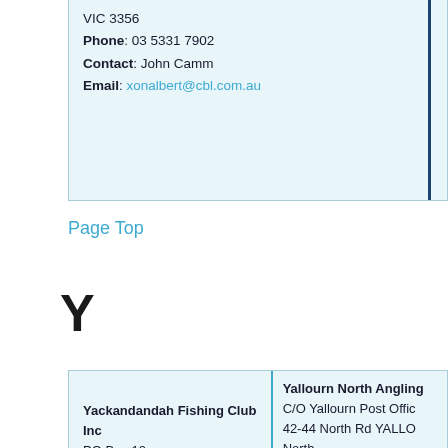| VIC 3356
Phone: 03 5331 7902
Contact: John Camm
Email: xonalbert@cbl.com.au |  |
Page Top
Y
| Yackandandah Fishing Club Inc
PO Box 10
YACKANDANDAH 3749 | Yallourn North Angling
C/O Yallourn Post Offic
42-44 North Rd YALLO North
VIC 3825
Contact: Dean Grealy (Secretary)
m.me/YallournNorthAn |
| Yallourn Gold Club Fishing | Yarra Valley Fly Fish... |